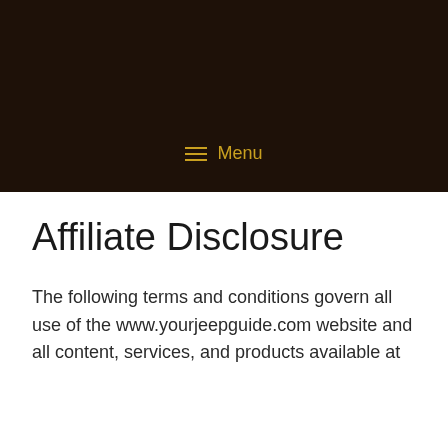☰ Menu
Affiliate Disclosure
The following terms and conditions govern all use of the www.yourjeepguide.com website and all content, services, and products available at